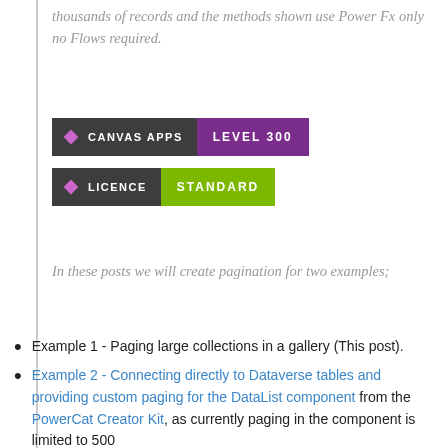thousands of records and the methods shown use Power Fx only no Flows required.
[Figure (infographic): Two badge graphics: first badge shows a diamond icon with 'CANVAS APPS' on dark grey background and 'LEVEL 300' on purple background; second badge shows a diamond icon with 'LICENCE' on dark grey background and 'STANDARD' on green background.]
In these posts we will create pagination for two examples;
Example 1 - Paging large collections in a gallery (This post).
Example 2 - Connecting directly to Dataverse tables and providing custom paging for the DataList component from the PowerCat Creator Kit, as currently paging in the component is limited to 500